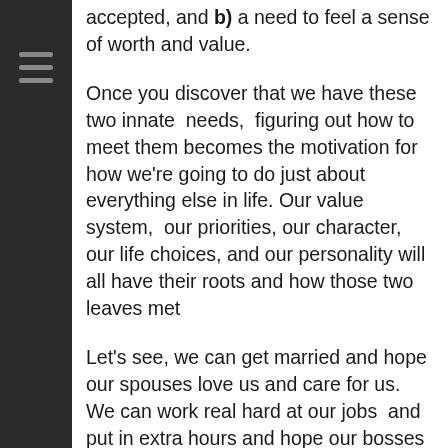accepted, and b) a need to feel a sense of worth and value.
Once you discover that we have these two innate needs, figuring out how to meet them becomes the motivation for how we're going to do just about everything else in life. Our value system, our priorities, our character, our life choices, and our personality will all have their roots and how those two leaves met
Let's see, we can get married and hope our spouses love us and care for us. We can work real hard at our jobs and put in extra hours and hope our bosses will accept us and tell us we're worthy and are a valuable employee.